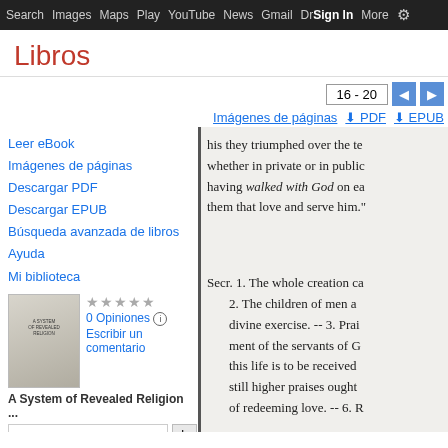Search  Images  Maps  Play  YouTube  News  Gmail  Drive  More  Sign in  ⚙
Libros
16 - 20  ◄  ►
Imágenes de páginas  ⬇ PDF  ⬇ EPUB
Leer eBook
Imágenes de páginas
Descargar PDF
Descargar EPUB
Búsqueda avanzada de libros
Ayuda
Mi biblioteca
★★★★★
0 Opiniones ⓘ
Escribir un comentario
A System of Revealed Religion ...
his they triumphed over the te whether in private or in public having walked with God on ea them that love and serve him."
Secr. 1. The whole creation ca
   2. The children of men a divine exercise. -- 3. Prai ment of the servants of G this life is to be received still higher praises ought of redeeming love. -- 6. R